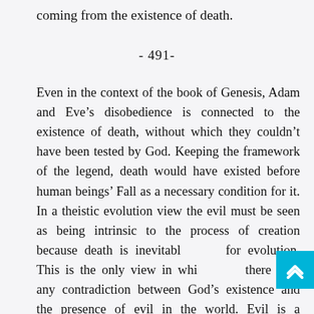coming from the existence of death.
- 491-
Even in the context of the book of Genesis, Adam and Eve’s disobedience is connected to the existence of death, without which they couldn’t have been tested by God. Keeping the framework of the legend, death would have existed before human beings’ Fall as a necessary condition for it. In a theistic evolution view the evil must be seen as being intrinsic to the process of creation because death is inevitable for evolution. This is the only view in which there isn’t any contradiction between God’s existence and the presence of evil in the world. Evil is a necessary condition of the creation